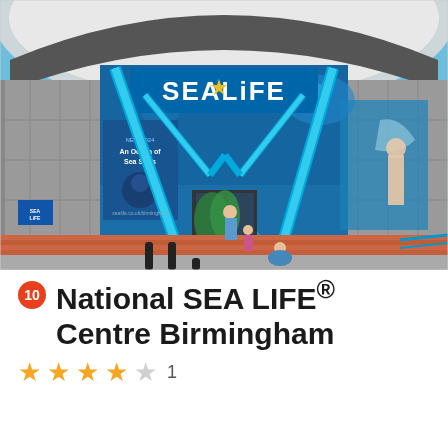[Figure (photo): Exterior photo of National SEA LIFE Centre Birmingham showing the distinctive blue triangular SEA LIFE branded entrance structure with aquarium murals, visitors outside, and blue sky.]
National SEA LIFE® Centre Birmingham
★★★★☆ 1